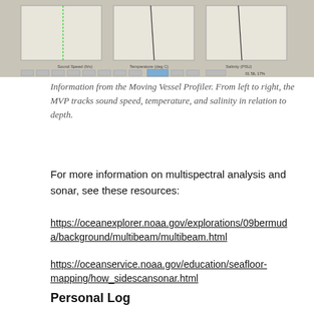[Figure (photo): Photo of Moving Vessel Profiler data screen showing three vertical plots side by side: sound speed vs depth, temperature vs depth, and salinity vs depth. The image is partially cropped at the top.]
Information from the Moving Vessel Profiler. From left to right, the MVP tracks sound speed, temperature, and salinity in relation to depth.
For more information on multispectral analysis and sonar, see these resources:
https://oceanexplorer.noaa.gov/explorations/09bermuda/background/multibeam/multibeam.html
https://oceanservice.noaa.gov/education/seafloor-mapping/how_sidescansonar.html
Personal Log